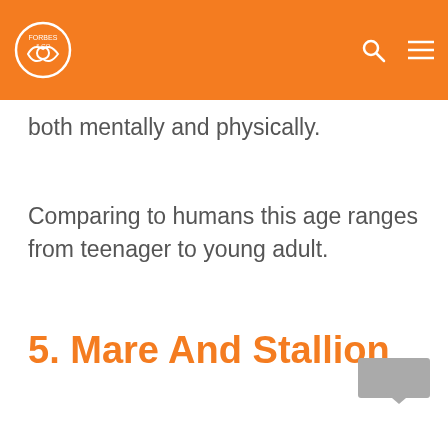both mentally and physically.
Comparing to humans this age ranges from teenager to young adult.
5. Mare And Stallion